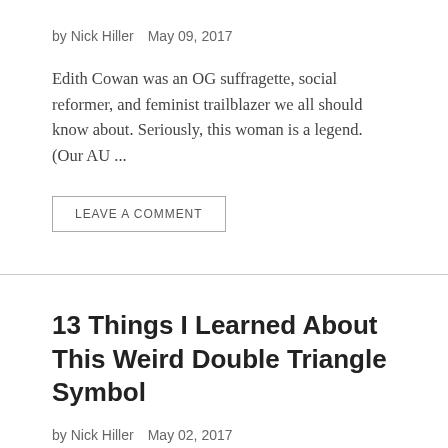by Nick Hiller   May 09, 2017
Edith Cowan was an OG suffragette, social reformer, and feminist trailblazer we all should know about. Seriously, this woman is a legend. (Our AU ...
LEAVE A COMMENT
13 Things I Learned About This Weird Double Triangle Symbol
by Nick Hiller   May 02, 2017
Some symbols are so ancient that pretty much every culture on earth has some variant. The hourglass